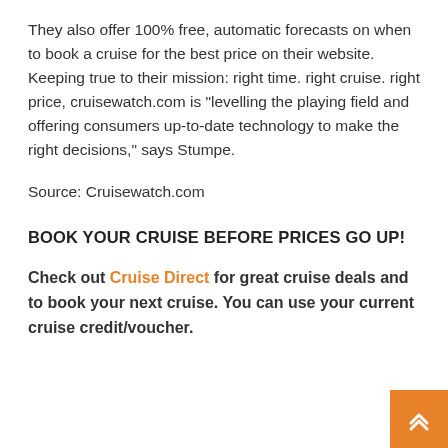They also offer 100% free, automatic forecasts on when to book a cruise for the best price on their website. Keeping true to their mission: right time. right cruise. right price, cruisewatch.com is “levelling the playing field and offering consumers up-to-date technology to make the right decisions,” says Stumpe.
Source: Cruisewatch.com
BOOK YOUR CRUISE BEFORE PRICES GO UP!
Check out Cruise Direct for great cruise deals and to book your next cruise. You can use your current cruise credit/voucher.